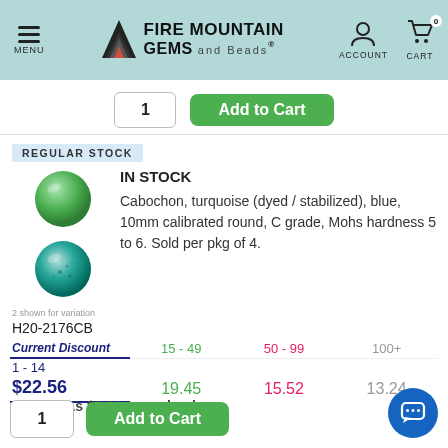MENU | FIRE MOUNTAIN GEMS and Beads | ACCOUNT | CART 0
1 | Add to Cart
REGULAR STOCK
IN STOCK
Cabochon, turquoise (dyed / stabilized), blue, 10mm calibrated round, C grade, Mohs hardness 5 to 6. Sold per pkg of 4.
2 shown for variation
H20-2176CB
| Current Discount | 15 - 49 | 50 - 99 | 100+ |
| --- | --- | --- | --- |
| 1 - 14 | 15 - 49 | 50 - 99 | 100+ |
| $22.56 | 19.45 | 15.52 | 13.24 |
As Low As $3.31 per cabochon
1 | Add to Cart